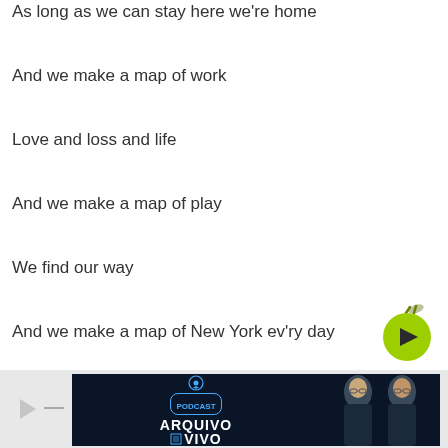As long as we can stay here we're home
And we make a map of work
Love and loss and life
And we make a map of play
We find our way
And we make a map of New York ev'ry day
Ending the night at 23rd and Third
Liz and her date
Who's hanging on every word
[Figure (other): Green circular play button with dark play triangle icon]
[Figure (other): Footer bar with podcast play icon and Arquivo Vivo podcast advertisement banner with two men in suits]